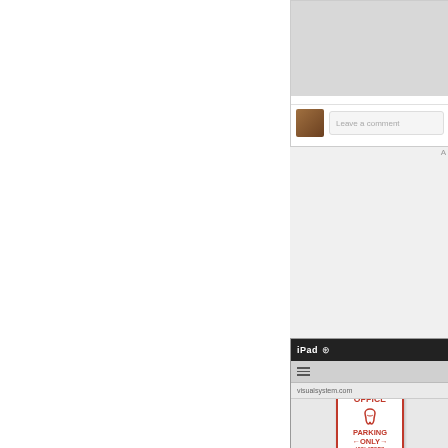[Figure (screenshot): Left blank white column with dashed right border, right side shows two screenshot panels. Top panel: social media comment section with avatar thumbnail and 'Leave a comment' input field. Bottom panel: iPad displaying a dental office parking sign that reads 'DENTAL OFFICE PARKING ONLY VIOLATORS WILL BE DRILLED' with a tooth icon and arrows. Below the sign image: 'LOL' text and reaction icons showing heart 1 and repost 2.]